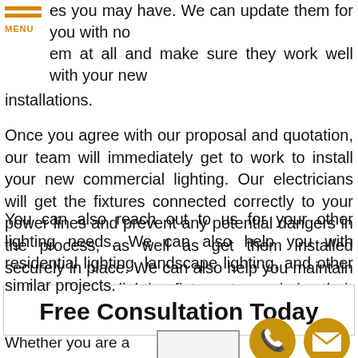MENU
es you may have. We can update them for you with no em at all and make sure they work well with your new installations.
Once you agree with our proposal and quotation, our team will immediately get to work to install your new commercial lighting. Our electricians will get the fixtures connected correctly to your power lines and prevent any potential dangers in the process, as well as get them installed securely in place. We can also help you maintain and repair your lighting fixtures to maximize their performance.
You can also reach out to us for your other lighting needs. We can also help you with residential lighting, landscape lighting, and other similar projects.
Free Consultation Today
Whether you are a small business...